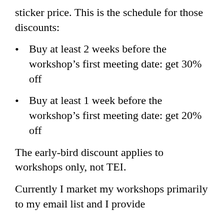sticker price. This is the schedule for those discounts:
Buy at least 2 weeks before the workshop's first meeting date: get 30% off
Buy at least 1 week before the workshop's first meeting date: get 20% off
The early-bird discount applies to workshops only, not TEI.
Currently I market my workshops primarily to my email list and I provide